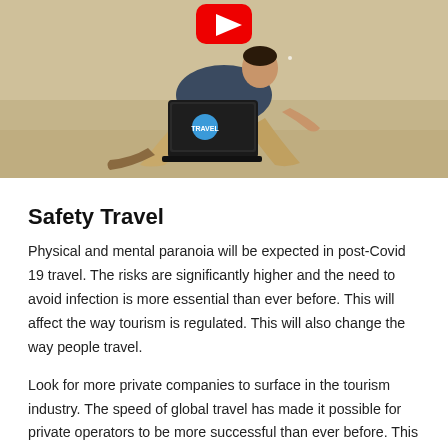[Figure (photo): A man sitting on a sandy beach with a laptop open on his lap, showing a blue sticker. A large YouTube play button (red and white) is visible at the top center of the image.]
Safety Travel
Physical and mental paranoia will be expected in post-Covid 19 travel. The risks are significantly higher and the need to avoid infection is more essential than ever before. This will affect the way tourism is regulated. This will also change the way people travel.
Look for more private companies to surface in the tourism industry. The speed of global travel has made it possible for private operators to be more successful than ever before. This will be an opportunity to look for niche markets and areas that can be served much better